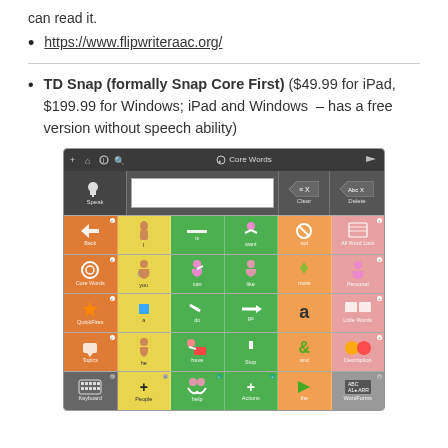can read it.
https://www.flipwriteraac.org/
TD Snap (formally Snap Core First) ($49.99 for iPad, $199.99 for Windows; iPad and Windows – has a free version without speech ability)
[Figure (screenshot): Screenshot of TD Snap AAC app showing Core Words interface with a grid of symbol-based communication buttons in orange, yellow, green, and pink colors]